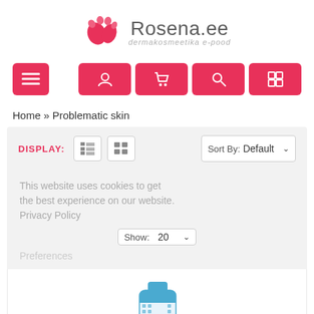[Figure (logo): Rosena.ee dermakosmeetika e-pood logo with pink paw print icon]
[Figure (screenshot): Navigation bar with hamburger menu button on left and four pink icon buttons (user, cart, search, language) on right]
Home » Problematic skin
[Figure (screenshot): Display filter bar with list and grid view buttons, Sort By: Default dropdown, Show: 20 dropdown, and cookie notice overlay with text about cookies and Privacy Policy]
[Figure (photo): Product tube for acnecinamide cream Day & Night skincare product]